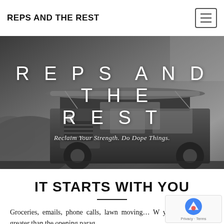REPS AND THE REST
[Figure (photo): Black and white photo of a vintage Jeep/truck with a canoe on the roof, parked against a rocky outdoor background. Hero banner image.]
REPS AND THE REST
Reclaim Your Strength. Do Dope Things.
IT STARTS WITH YOU
Groceries, emails, phone calls, lawn moving… W your to-do list is greater than the opening parag